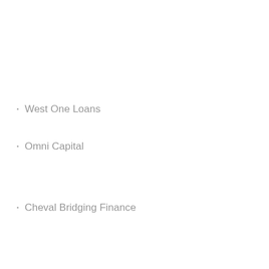West One Loans
Omni Capital
Cheval Bridging Finance